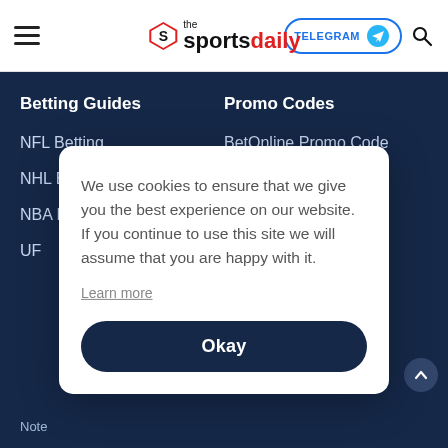the sportsdaily | TELEGRAM
Betting Guides
NFL Betting
NHL Betting
NBA Betting
UFC Betting
Promo Codes
BetOnline Promo Code
Bovada Promo Code
MyBookie Promo Code
We use cookies to ensure that we give you the best experience on our website. If you continue to use this site we will assume that you are happy with it.
Learn more
Okay